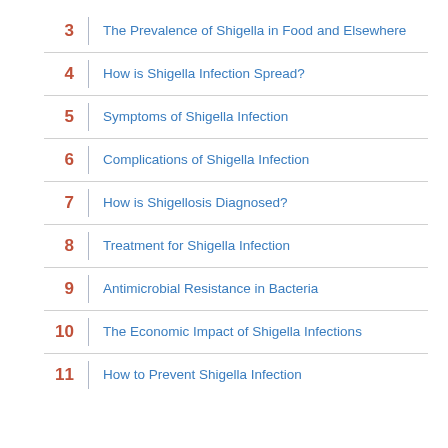3 The Prevalence of Shigella in Food and Elsewhere
4 How is Shigella Infection Spread?
5 Symptoms of Shigella Infection
6 Complications of Shigella Infection
7 How is Shigellosis Diagnosed?
8 Treatment for Shigella Infection
9 Antimicrobial Resistance in Bacteria
10 The Economic Impact of Shigella Infections
11 How to Prevent Shigella Infection